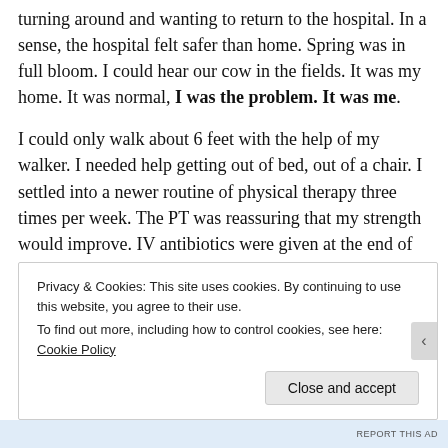turning around and wanting to return to the hospital. In a sense, the hospital felt safer than home. Spring was in full bloom. I could hear our cow in the fields. It was my home. It was normal, I was the problem. It was me.
I could only walk about 6 feet with the help of my walker. I needed help getting out of bed, out of a chair. I settled into a newer routine of physical therapy three times per week. The PT was reassuring that my strength would improve. IV antibiotics were given at the end of my dialysis treatments at home. There were practice walks through the house to try and increase my strength; a chair to sit on for showering as I couldn't stand that long on my own. My hair began to fall out;
Privacy & Cookies: This site uses cookies. By continuing to use this website, you agree to their use. To find out more, including how to control cookies, see here: Cookie Policy
Close and accept